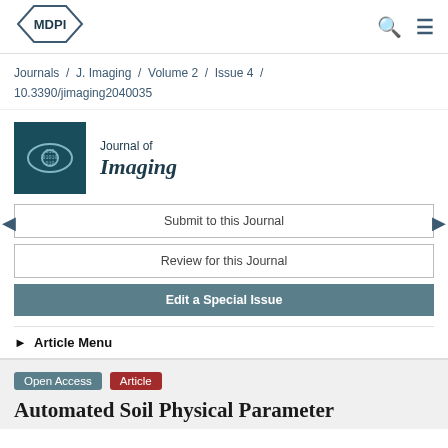[Figure (logo): MDPI logo in top left navigation bar]
Journals / J. Imaging / Volume 2 / Issue 4 / 10.3390/jimaging2040035
[Figure (logo): Journal of Imaging logo — dark teal square with eye icon and binary numbers, beside text 'Journal of Imaging']
Submit to this Journal
Review for this Journal
Edit a Special Issue
▶ Article Menu
Open Access  Article
Automated Soil Physical Parameter